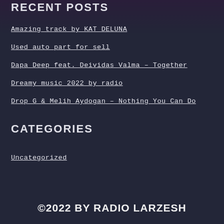RECENT POSTS
Amazing track by KAT DELUNA
Used auto part for sell
Dapa Deep feat. Deividas Valma – Together
Dreamy music 2022 by radio
Drop G & Melih Aydogan – Nothing You Can Do
CATEGORIES
Uncategorized
©2022 BY RADIO LARZESH